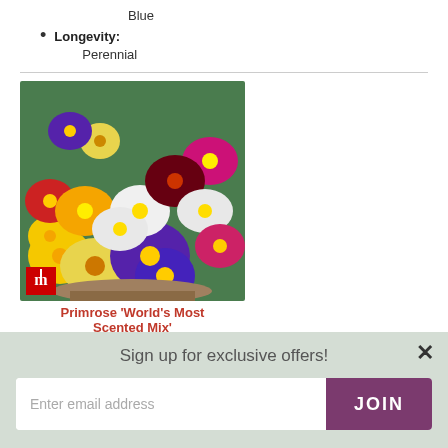Blue
Longevity: Perennial
[Figure (photo): Colorful primrose flowers in a mix of yellow, red, purple, white, pink, and dark red blooms in a pot, with a red logo badge in the bottom left corner.]
Primrose 'World's Most Scented Mix'
Sign up for exclusive offers!
Enter email address   JOIN